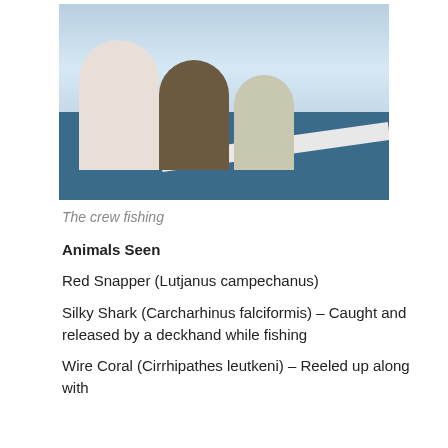[Figure (photo): Three crew members leaning over the rail of a boat fishing at sea, with fishing rods visible and ocean in the background.]
The crew fishing
Animals Seen
Red Snapper (Lutjanus campechanus)
Silky Shark (Carcharhinus falciformis) – Caught and released by a deckhand while fishing
Wire Coral (Cirrhipathes leutkeni) – Reeled up along with